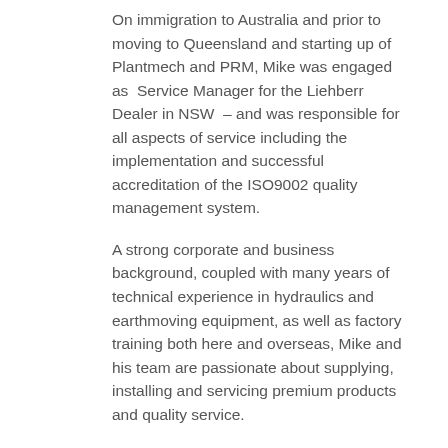On immigration to Australia and prior to moving to Queensland and starting up of Plantmech and PRM, Mike was engaged as  Service Manager for the Liehberr Dealer in NSW  – and was responsible for all aspects of service including the implementation and successful accreditation of the ISO9002 quality management system.
A strong corporate and business background, coupled with many years of technical experience in hydraulics and earthmoving equipment, as well as factory training both here and overseas, Mike and his team are passionate about supplying, installing and servicing premium products and quality service.
Plantmech and Premier Rock Machinery employs 11 staff, PRM Engineering four staff with both state of the art workshop in Acacia Ridge, with field service capabilities, in Queensland, Interstate and NZ.